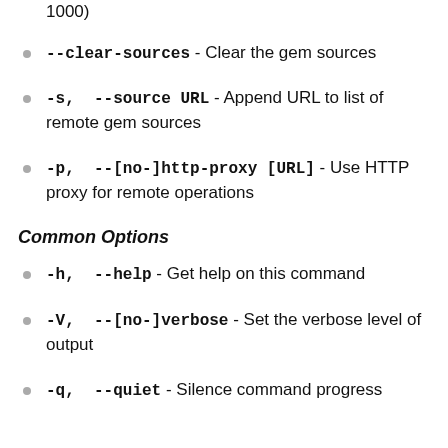for switching to bulk synchronization (default 1000)
--clear-sources - Clear the gem sources
-s, --source URL - Append URL to list of remote gem sources
-p, --[no-]http-proxy [URL] - Use HTTP proxy for remote operations
Common Options
-h, --help - Get help on this command
-V, --[no-]verbose - Set the verbose level of output
-q, --quiet - Silence command progress